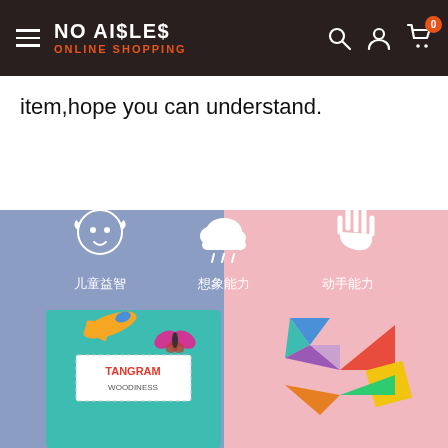NO AISLES ONLINE SHOPPING
item,hope you can understand.
[Figure (photo): Product promotional image for Tangram Woodiness puzzle toy, split into blue-purple and pink halves. Left side shows a teal book/box with airplane, butterfly, fox, and horse illustrations labeled 'TANGRAM WOODINESS'. Right side shows colorful tangram pieces arranged as a bird shape. Top icons show a baby face, cloud, and hand with Chinese text: 儿童益智, 想象能力, 动手能力 (Children's intelligence, Imagination ability, Hands-on ability).]